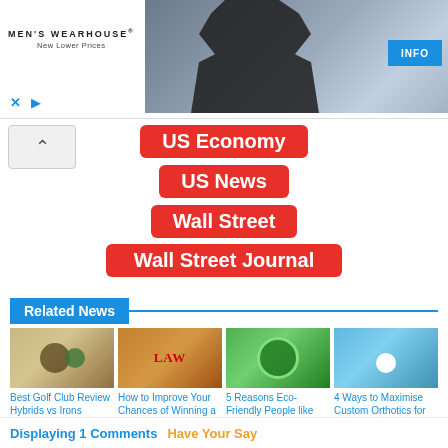[Figure (photo): Men's Wearhouse advertisement banner with couple in formal wear and man in suit, with INFO button]
US Economy
US News
Wall Street
Wall Street Journal
Related News
[Figure (photo): Best Golf Club Review Hybrids vs Irons thumbnail]
Best Golf Club Review Hybrids vs Irons
[Figure (photo): How to Improve Your Chances of Winning a thumbnail showing law book]
How to Improve Your Chances of Winning a
[Figure (photo): 5 Reasons Eco-Friendly People like Vikki Nicolai La Crosse thumbnail showing green earth]
5 Reasons Eco-Friendly People like Vikki Nicolai La Crosse
[Figure (photo): 4 Ways to Maximise Custom Orthotics for Your Feet thumbnail showing medical professional]
4 Ways to Maximise Custom Orthotics for Your Feet
Displaying 1 Comments  Have Your Say